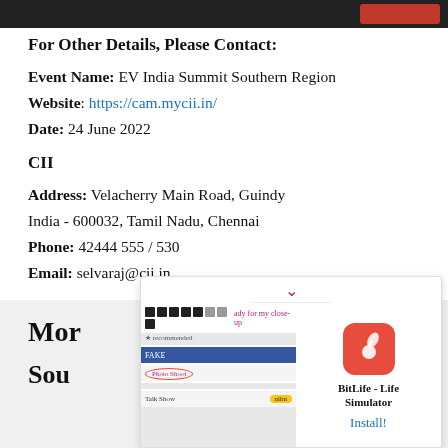For Other Details, Please Contact:
Event Name: EV India Summit Southern Region
Website: https://cam.mycii.in/
Date: 24 June 2022
CII
Address: Velacherry Main Road, Guindy
India - 600032, Tamil Nadu, Chennai
Phone: 42444 555 / 530
Email: selvaraj@cii.in
Mor
Sou
[Figure (screenshot): Advertisement overlay showing BitLife - Life Simulator app install prompt with a game screenshot on the left and app icon on the right, with an Install! button.]